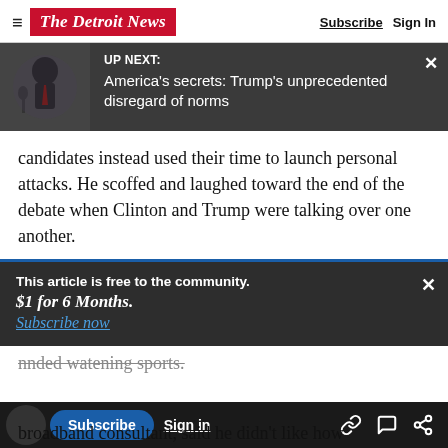The Detroit News | Subscribe  Sign In
[Figure (screenshot): UP NEXT banner with photo of Trump and headline: America's secrets: Trump's unprecedented disregard of norms]
candidates instead used their time to launch personal attacks. He scoffed and laughed toward the end of the debate when Clinton and Trump were talking over one another.
This article is free to the community.
$1 for 6 Months.
Subscribe now
nnded watening sports.
broadband consultant, said he didn't like how